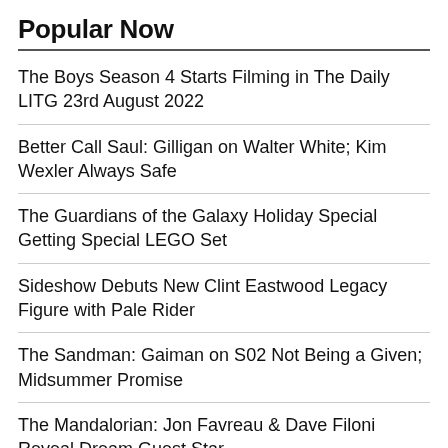Popular Now
The Boys Season 4 Starts Filming in The Daily LITG 23rd August 2022
Better Call Saul: Gilligan on Walter White; Kim Wexler Always Safe
The Guardians of the Galaxy Holiday Special Getting Special LEGO Set
Sideshow Debuts New Clint Eastwood Legacy Figure with Pale Rider
The Sandman: Gaiman on S02 Not Being a Given; Midsummer Promise
The Mandalorian: Jon Favreau & Dave Filoni Reveal Dream Guest Star
Batman: Caped Crusader Deep in Production, "Will Show Up Somewhere"